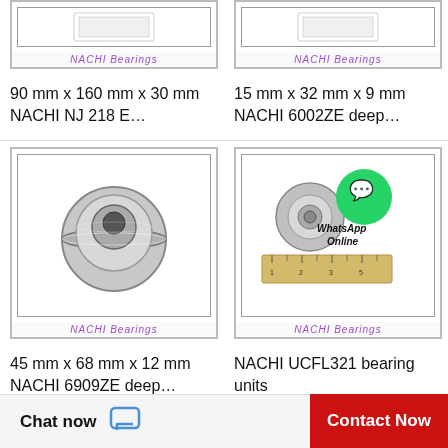[Figure (photo): NACHI bearing product image top-left, partial view of box/bearing with NACHI Bearings label]
90 mm x 160 mm x 30 mm
NACHI NJ 218 E…
[Figure (photo): NACHI bearing product image top-right, partial view with NACHI Bearings label]
15 mm x 32 mm x 9 mm
NACHI 6002ZE deep…
[Figure (photo): NACHI flanged ball bearing 6909ZE, metallic silver, shown in white box with NACHI Bearings label]
45 mm x 68 mm x 12 mm
NACHI 6909ZE deep…
[Figure (photo): NACHI UCFL321 bearing unit with ruler and WhatsApp Online overlay, NACHI Bearings label]
NACHI UCFL321 bearing units
Chat now  Contact Now